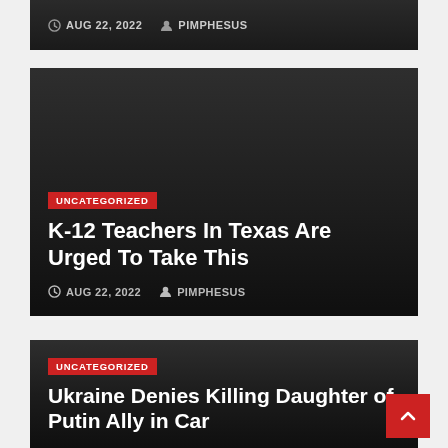[Figure (screenshot): Partial article card (cut off at top) with dark background showing date AUG 22, 2022 and author PIMPHESUS]
AUG 22, 2022  PIMPHESUS
[Figure (screenshot): Article card with dark gradient background, UNCATEGORIZED badge, title 'K-12 Teachers In Texas Are Urged To Take This', date AUG 22, 2022, author PIMPHESUS]
K-12 Teachers In Texas Are Urged To Take This
AUG 22, 2022  PIMPHESUS
[Figure (screenshot): Article card with dark gradient background, UNCATEGORIZED badge, and partial title 'Ukraine Denies Killing Daughter of Putin Ally in Car']
Ukraine Denies Killing Daughter of Putin Ally in Car